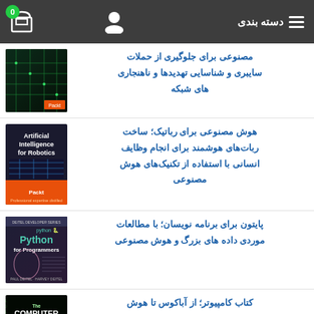دسته بندی
مصنوعی برای جلوگیری از حملات سایبری و شناسایی تهدیدها و ناهنجاری های شبکه
[Figure (photo): Book cover with dark background and green circuit pattern]
هوش مصنوعی برای رباتیک؛ ساخت ربات‌های هوشمند برای انجام وظایف انسانی با استفاده از تکنیک‌های هوش مصنوعی
[Figure (photo): Artificial Intelligence for Robotics book cover by Packt]
پایتون برای برنامه نویسان؛ با مطالعات موردی داده های بزرگ و هوش مصنوعی
[Figure (photo): Python for Programmers book cover]
کتاب کامپیوتر؛ از آباکوس تا هوش مصنوعی ... 250 نقطه عطف در تاریخ علوم
[Figure (photo): The Computer Book cover with green on black design]